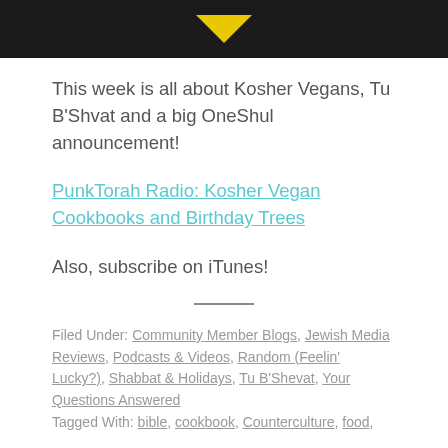[Figure (illustration): Dark banner with a yellow downward chevron/triangle shape centered on a black background]
This week is all about Kosher Vegans, Tu B'Shvat and a big OneShul announcement!
PunkTorah Radio: Kosher Vegan Cookbooks and Birthday Trees
Also, subscribe on iTunes!
Filed Under: Community Member Blogs, Jewish Media Reviews, Podcasts & Videos, Random (Feelin' Lucky?), Shabbat & Holidays, Tu B'Shevat, Your Questions Answered
Tagged With: bible, cookbook, Counterculture, food,